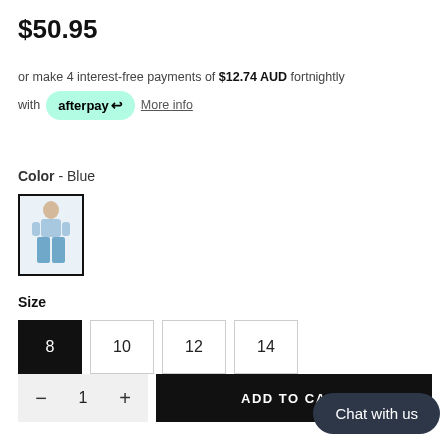$50.95
or make 4 interest-free payments of $12.74 AUD fortnightly with afterpay↩ More info
Color - Blue
[Figure (photo): Small thumbnail image of a woman wearing blue jeans and a light blue top]
Size
Size buttons: 8 (selected/black), 10, 12, 14
Quantity: — 1 + | ADD TO CART
Chat with us